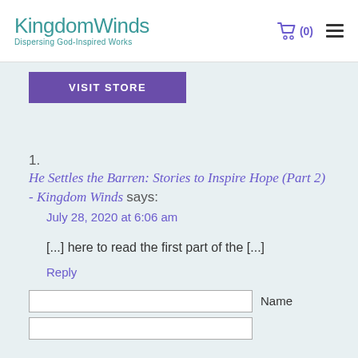KingdomWinds Dispersing God-Inspired Works
VISIT STORE
He Settles the Barren: Stories to Inspire Hope (Part 2) - Kingdom Winds says: July 28, 2020 at 6:06 am

[...] here to read the first part of the [...]
Reply
Name